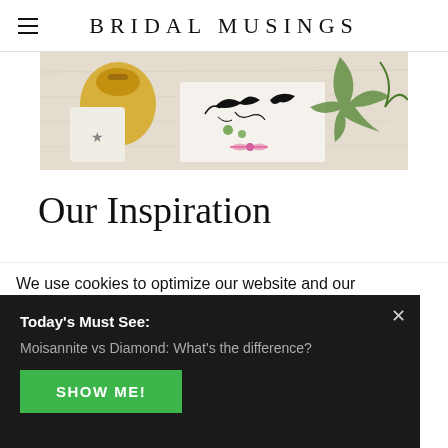BRIDAL MUSINGS
[Figure (photo): Photo strip showing wedding favour bags, stamped bird cards with pink ribbon bow, and green foliage on a white distressed wood background]
Our Inspiration
We use cookies to optimize our website and our
Today's Must See:
Moisannite vs Diamond: What's the difference?
SHOW ME!